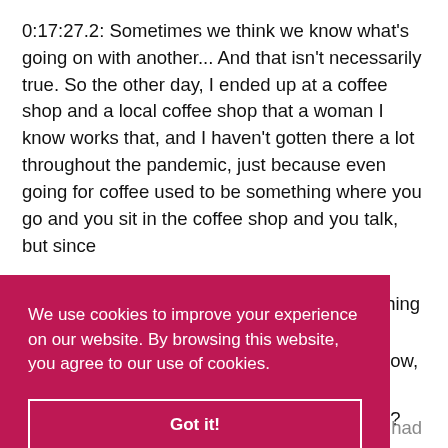0:17:27.2: Sometimes we think we know what's going on with another... And that isn't necessarily true. So the other day, I ended up at a coffee shop and a local coffee shop that a woman I know works that, and I haven't gotten there a lot throughout the pandemic, just because even going for coffee used to be something where you go and you sit in the coffee shop and you talk, but since
We use cookies to improve your experience on our website. By browsing this website, you agree to our use of cookies.
Got it!
where our minds go, but part of me thought I had